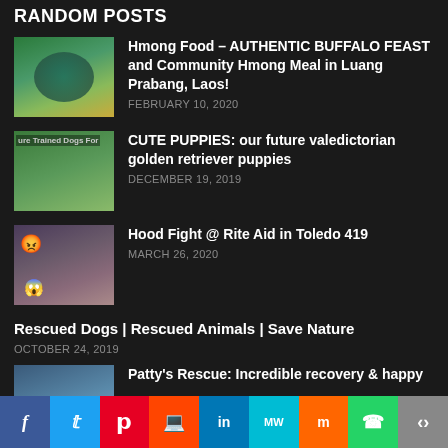RANDOM POSTS
Hmong Food – AUTHENTIC BUFFALO FEAST and Community Hmong Meal in Luang Prabang, Laos! | FEBRUARY 10, 2020
CUTE PUPPIES: our future valedictorian golden retriever puppies | DECEMBER 19, 2019
Hood Fight @ Rite Aid in Toledo 419 | MARCH 26, 2020
Rescued Dogs | Rescued Animals | Save Nature | OCTOBER 24, 2019
Patty's Rescue: Incredible recovery & happy ...